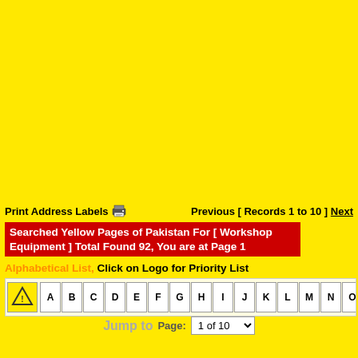Print Address Labels 🖨   Previous [ Records 1 to 10 ] Next
Searched Yellow Pages of Pakistan For [ Workshop Equipment ] Total Found 92, You are at Page 1
Alphabetical List, Click on Logo for Priority List
[Figure (other): Alphabetical navigation bar with logo and letter buttons A through S]
Jump to Page: 1 of 10